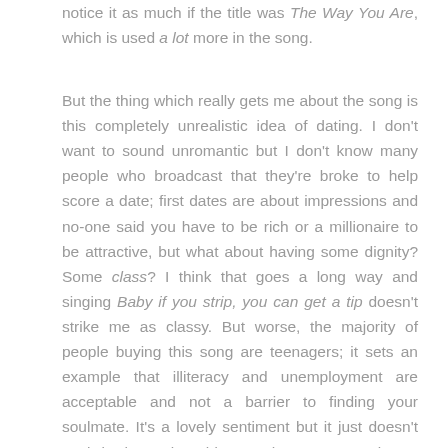notice it as much if the title was The Way You Are, which is used a lot more in the song.
But the thing which really gets me about the song is this completely unrealistic idea of dating. I don't want to sound unromantic but I don't know many people who broadcast that they're broke to help score a date; first dates are about impressions and no-one said you have to be rich or a millionaire to be attractive, but what about having some dignity? Some class? I think that goes a long way and singing Baby if you strip, you can get a tip doesn't strike me as classy. But worse, the majority of people buying this song are teenagers; it sets an example that illiteracy and unemployment are acceptable and not a barrier to finding your soulmate. It's a lovely sentiment but it just doesn't work in the real world; or perhaps you're going to pay for dinner with your tips from